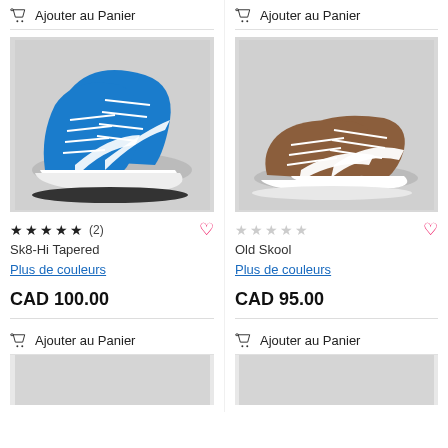🛒 Ajouter au Panier
🛒 Ajouter au Panier
[Figure (photo): Blue Vans Sk8-Hi Tapered high-top sneakers on light grey background]
[Figure (photo): Brown Vans Old Skool low-top sneakers on light grey background]
★★★★★ (2) — Sk8-Hi Tapered
Old Skool (no reviews)
Plus de couleurs
Plus de couleurs
CAD 100.00
CAD 95.00
🛒 Ajouter au Panier
🛒 Ajouter au Panier
[Figure (photo): Partially visible product image, clipped at bottom of page]
[Figure (photo): Partially visible product image, clipped at bottom of page]